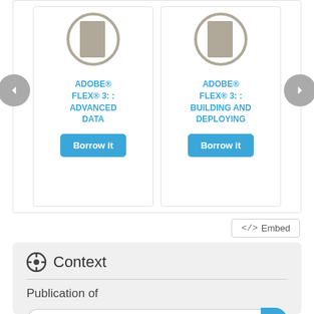[Figure (screenshot): Book carousel showing two book cards: 'ADOBE® FLEX® 3: : ADVANCED DATA' and 'ADOBE® FLEX® 3: : BUILDING AND DEPLOYING', each with a 'Borrow it' button. Left and right navigation arrows on sides.]
ADOBE® FLEX® 3: : ADVANCED DATA
ADOBE® FLEX® 3: : BUILDING AND DEPLOYING
<> Embed
Context
Publication of
Filter